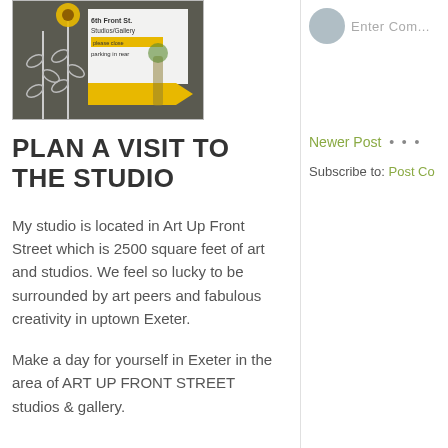[Figure (photo): Photo of Art Up Front Street Studios & Gallery sign with painted flowers on dark background and yellow arrow sign saying 'parking in rear']
PLAN A VISIT TO THE STUDIO
My studio is located in Art Up Front Street which is 2500 square feet of art and studios. We feel so lucky to be surrounded by art peers and fabulous creativity in uptown Exeter.
Make a day for yourself in Exeter in the area of ART UP FRONT STREET studios & gallery.
Newer Post
Subscribe to: Post Co